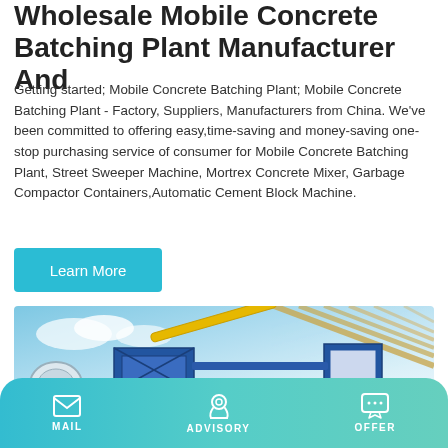Wholesale Mobile Concrete Batching Plant Manufacturer And
Getting started; Mobile Concrete Batching Plant; Mobile Concrete Batching Plant - Factory, Suppliers, Manufacturers from China. We've been committed to offering easy,time-saving and money-saving one-stop purchasing service of consumer for Mobile Concrete Batching Plant, Street Sweeper Machine, Mortrex Concrete Mixer, Garbage Compactor Containers,Automatic Cement Block Machine.
[Figure (other): Learn More button in teal/cyan color]
[Figure (photo): Photograph of a mobile concrete batching plant with blue steel frame structures, yellow pipe, white drum mixer, and cloudy sky background with diagonal structural elements in upper right]
MAIL  ADVISORY  OFFER